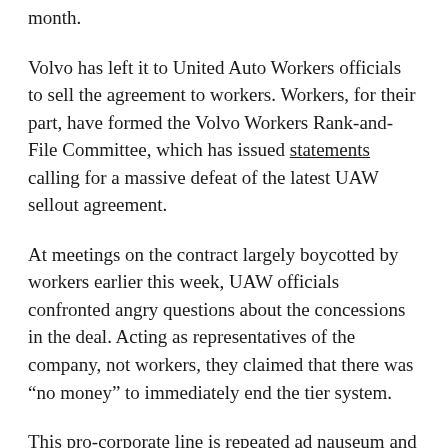month.
Volvo has left it to United Auto Workers officials to sell the agreement to workers. Workers, for their part, have formed the Volvo Workers Rank-and-File Committee, which has issued statements calling for a massive defeat of the latest UAW sellout agreement.
At meetings on the contract largely boycotted by workers earlier this week, UAW officials confronted angry questions about the concessions in the deal. Acting as representatives of the company, not workers, they claimed that there was “no money” to immediately end the tier system.
This pro-corporate line is repeated ad nauseum and used to justify virtually every attack on workers, and every refusal of their demands. It is, in reality, a lie.